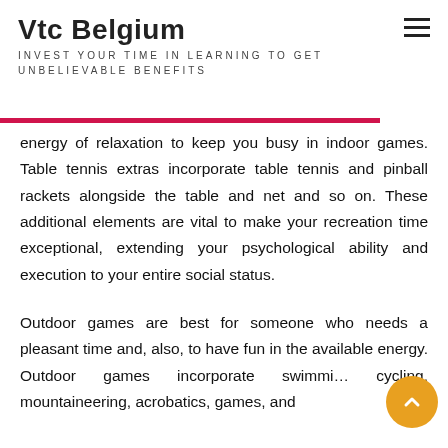Vtc Belgium
INVEST YOUR TIME IN LEARNING TO GET UNBELIEVABLE BENEFITS
energy of relaxation to keep you busy in indoor games. Table tennis extras incorporate table tennis and pinball rackets alongside the table and net and so on. These additional elements are vital to make your recreation time exceptional, extending your psychological ability and execution to your entire social status.
Outdoor games are best for someone who needs a pleasant time and, also, to have fun in the available energy. Outdoor games incorporate swimming, cycling, mountaineering, acrobatics, games, and